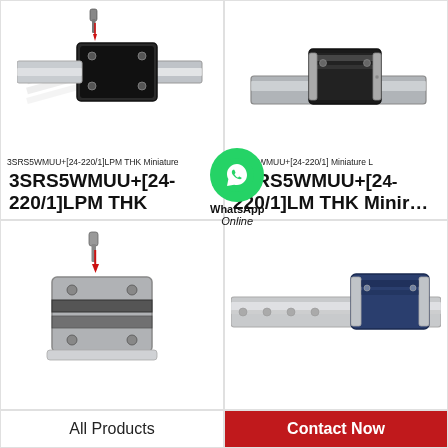[Figure (illustration): THK miniature linear guide block with rail, screw pointing down with red arrow indicating installation. Model 3SRS5WMUU+[24-220/1]LPM THK Miniature.]
[Figure (illustration): THK miniature linear guide block carriage on rail, black block on silver rail. Model 3SRS5WMUU+[24-220/1]LM THK Miniature.]
3SRS5WMUU+[24-220/1]LPM THK Miniature
3SRS5WMUU+[24-220/1] Miniature L
3SRS5WMUU+[24-220/1]LPM THK Miniat…
3SRS5WMUU+[24-220/1]LM THK Minir…
[Figure (illustration): Grey THK linear guide block with screw and red arrow indicating installation direction, bottom row left.]
[Figure (illustration): Blue and silver THK linear guide carriage on silver rail, bottom row right.]
[Figure (illustration): WhatsApp Online badge overlay icon — green circle with phone icon, text WhatsApp Online below.]
All Products
Contact Now